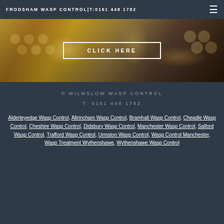FRODSHAM WASP CONTROL|T:0161 448 1782
[Figure (photo): Close-up photo of a wasp nest with wasps on honeycomb cells, with a 'CLICK HERE' call-to-action button overlay]
© WILMSLOW WASP CONTROL
T: 0161 448 1782
Alderleyedge Wasp Control, Altrincham Wasp Control, Bramhall Wasp Control, Cheadle Wasp Control, Cheshire Wasp Control, Didsbury Wasp Control, Manchester Wasp Control, Salford Wasp Control, Trafford Wasp Control, Urmston Wasp Control, Wasp Control Manchester, Wasp Treatment Wythenshawe, Wythenshawe Wasp Control